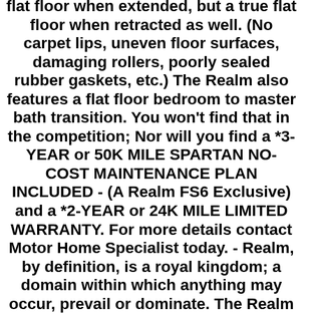flat floor when extended, but a true flat floor when retracted as well. (No carpet lips, uneven floor surfaces, damaging rollers, poorly sealed rubber gaskets, etc.) The Realm also features a flat floor bedroom to master bath transition. You won't find that in the competition; Nor will you find a *3-YEAR or 50K MILE SPARTAN NO-COST MAINTENANCE PLAN INCLUDED - (A Realm FS6 Exclusive) and a *2-YEAR or 24K MILE LIMITED WARRANTY. For more details contact Motor Home Specialist today. - Realm, by definition, is a royal kingdom; a domain within which anything may occur, prevail or dominate. The Realm of Dreams is here and available at Motor Home Specialist the #1 Volume Selling